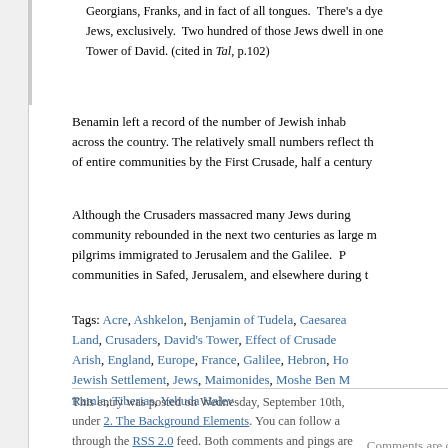Georgians, Franks, and in fact of all tongues. There's a dye... Jews, exclusively. Two hundred of those Jews dwell in one... Tower of David. (cited in Tal, p.102)
Benamin left a record of the number of Jewish inhab... across the country. The relatively small numbers reflect th... of entire communities by the First Crusade, half a century...
Although the Crusaders massacred many Jews during... community rebounded in the next two centuries as large m... pilgrims immigrated to Jerusalem and the Galilee. P... communities in Safed, Jerusalem, and elsewhere during t...
Tags: Acre, Ashkelon, Benjamin of Tudela, Caesarea... Land, Crusaders, David's Tower, Effect of Crusade... Arish, England, Europe, France, Galilee, Hebron, Ho... Jewish Settlement, Jews, Maimonides, Moshe Ben M... Ramla, Tiberias, Yehuda Halev
This entry was posted on Wednesday, September 10th, ... under 2. The Background Elements. You can follow a... through the RSS 2.0 feed. Both comments and pings are...
Comments are closed.